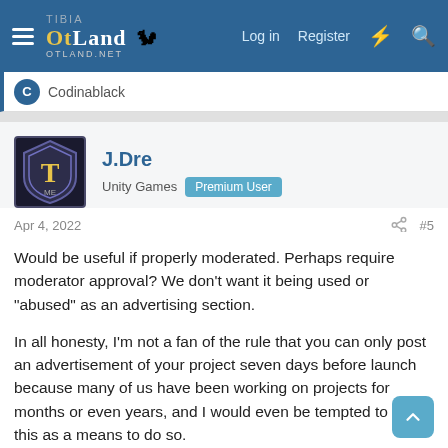OtLand — Log in | Register
Codinablack
J.Dre
Unity Games  Premium User
Apr 4, 2022  #5
Would be useful if properly moderated. Perhaps require moderator approval? We don't want it being used or "abused" as an advertising section.

In all honesty, I'm not a fan of the rule that you can only post an advertisement of your project seven days before launch because many of us have been working on projects for months or even years, and I would even be tempted to use this as a means to do so.

Regards,